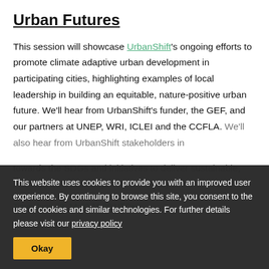Urban Futures
This session will showcase UrbanShift's ongoing efforts to promote climate adaptive urban development in participating cities, highlighting examples of local leadership in building an equitable, nature-positive urban future. We'll hear from UrbanShift's funder, the GEF, and our partners at UNEP, WRI, ICLEI and the CCFLA. We'll also hear from UrbanShift stakeholders in [dimmed] towards the SDGs and initiatives to deliver sustainable, resilient urban development at the city and national level.
This website uses cookies to provide you with an improved user experience. By continuing to browse this site, you consent to the use of cookies and similar technologies. For further details please visit our privacy policy
Okay
Time: June 29, 14:30-16:00 UTC+2